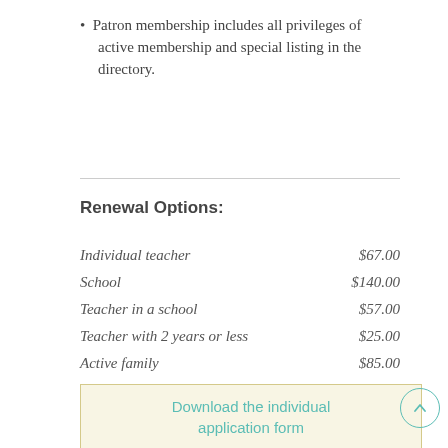Patron membership includes all privileges of active membership and special listing in the directory.
Renewal Options:
|  |  |
| --- | --- |
| Individual teacher | $67.00 |
| School | $140.00 |
| Teacher in a school | $57.00 |
| Teacher with 2 years or less | $25.00 |
| Active family | $85.00 |
| Subscribing individual (non-teacher) | $15.00 |
Download the individual application form